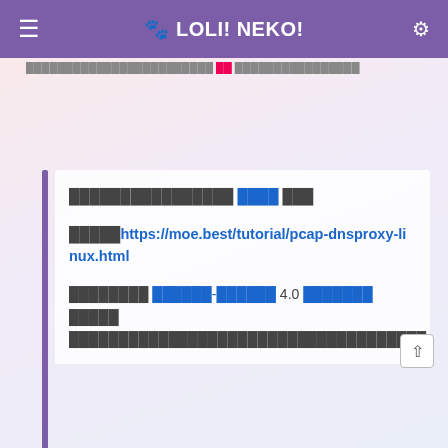🐾 LOLI! NEKO!
████████████████ ███ ███
█████https://moe.best/tutorial/pcap-dnsproxy-linux.html
████████ ██████-██████ 4.0 ███████ █████ ████████████████████████████████████
| VPS |  |  |  |  |  | 94 |
| --- | --- | --- | --- | --- | --- | --- |
| BWH3HYATVBJW |  |  |  |  |  |  |
| $47 | CN2 | 1 | /1G | /20G | /1T@1Gbps |  |
| $47 | CN2 GIA | 1 | /1G | /20G | /1T@2.5Gbps |  |